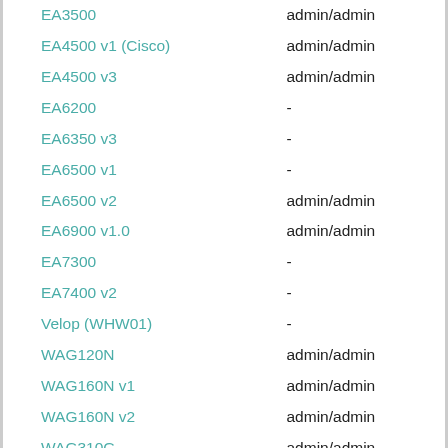| Model | Default Credentials |
| --- | --- |
| EA3500 | admin/admin |
| EA4500 v1 (Cisco) | admin/admin |
| EA4500 v3 | admin/admin |
| EA6200 | - |
| EA6350 v3 | - |
| EA6500 v1 | - |
| EA6500 v2 | admin/admin |
| EA6900 v1.0 | admin/admin |
| EA7300 | - |
| EA7400 v2 | - |
| Velop (WHW01) | - |
| WAG120N | admin/admin |
| WAG160N v1 | admin/admin |
| WAG160N v2 | admin/admin |
| WAG310G | admin/admin |
| WAG320N | admin/admin |
| WAG354G v1 | admin/admin |
| WAG54G v1.0 | admin/admin |